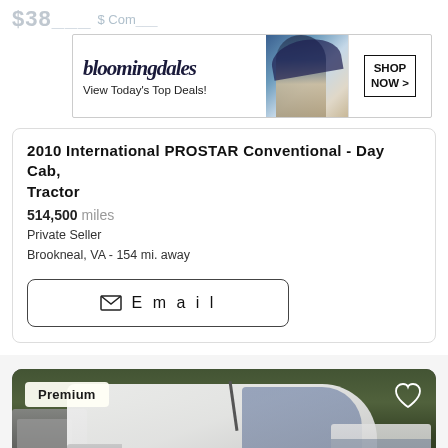[Figure (advertisement): Bloomingdale's banner ad with woman in blue hat, 'View Today's Top Deals!' text, and SHOP NOW button]
2010 International PROSTAR Conventional - Day Cab, Tractor
514,500 miles
Private Seller
Brookneal, VA - 154 mi. away
Email
[Figure (photo): White semi truck (International PROSTAR) parked in a lot with other vehicles and trees in background. Premium badge in top left, heart/favorite icon top right.]